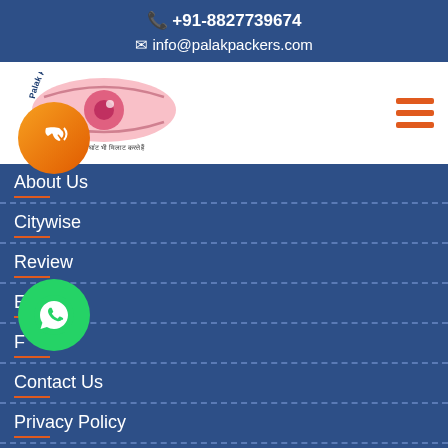☎ +91-8827739674
✉ info@palakpackers.com
[Figure (logo): Palak Roadways Packers & Movers logo with eye graphic and Hindi tagline]
About Us
Citywise
Review
Enquiry
F...
Contact Us
Privacy Policy
Terms & Conditions
Disclaimer